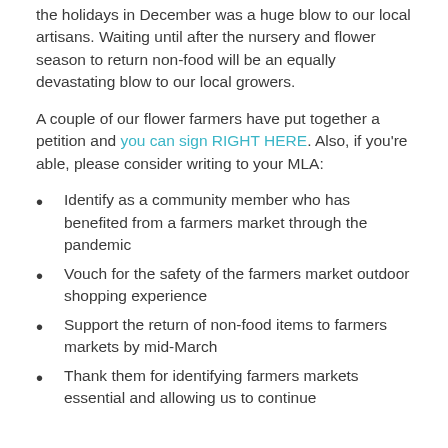the holidays in December was a huge blow to our local artisans. Waiting until after the nursery and flower season to return non-food will be an equally devastating blow to our local growers.
A couple of our flower farmers have put together a petition and you can sign RIGHT HERE. Also, if you're able, please consider writing to your MLA:
Identify as a community member who has benefited from a farmers market through the pandemic
Vouch for the safety of the farmers market outdoor shopping experience
Support the return of non-food items to farmers markets by mid-March
Thank them for identifying farmers markets essential and allowing us to continue